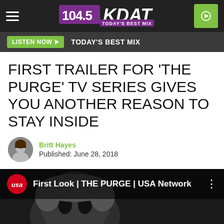104.5 KDAT — TODAY'S BEST MIX
LISTEN NOW ▶  TODAY'S BEST MIX
FIRST TRAILER FOR 'THE PURGE' TV SERIES GIVES YOU ANOTHER REASON TO STAY INSIDE
Britt Hayes
Published: June 28, 2018
[Figure (screenshot): Video thumbnail for 'First Look | THE PURGE | USA Network' with USA Network red circular logo and masked face in background]